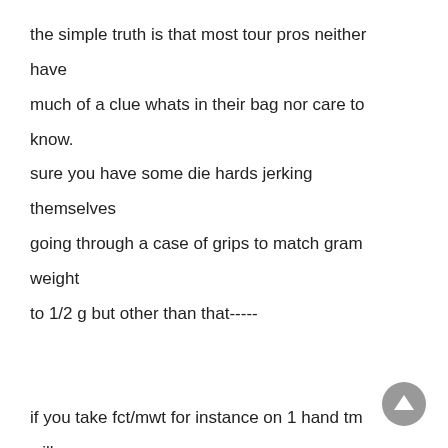the simple truth is that most tour pros neither have much of a clue whats in their bag nor care to know. sure you have some die hards jerking themselves going through a case of grips to match gram weight to 1/2 g but other than that-----

if you take fct/mwt for instance on 1 hand tm will shove down your throat that all these adjustments will create certain very wide dispersions in ball flight.what they neglect to mention is that the golfer needs to be talented and practiced enough to repeat a pinhead hit everytime to get these results.the fact is mwt is a farce and it really